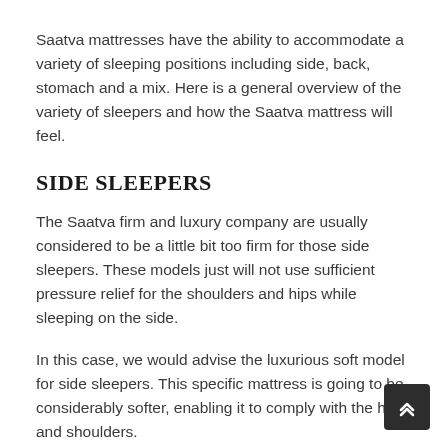Saatva mattresses have the ability to accommodate a variety of sleeping positions including side, back, stomach and a mix. Here is a general overview of the variety of sleepers and how the Saatva mattress will feel.
SIDE SLEEPERS
The Saatva firm and luxury company are usually considered to be a little bit too firm for those side sleepers. These models just will not use sufficient pressure relief for the shoulders and hips while sleeping on the side.
In this case, we would advise the luxurious soft model for side sleepers. This specific mattress is going to be considerably softer, enabling it to comply with the hips and shoulders.